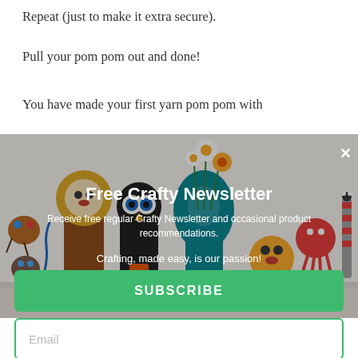Repeat (just to make it extra secure).
Pull your pom pom out and done!
You have made your first yarn pom pom with
[Figure (photo): Newsletter popup overlay showing handmade craft toys including painted rock animals, a lion puppet, an owl puppet, and other colorful craft creatures. Overlay text reads 'Free Crafty Newsletter' with description and tagline.]
Email
SUBSCRIBE